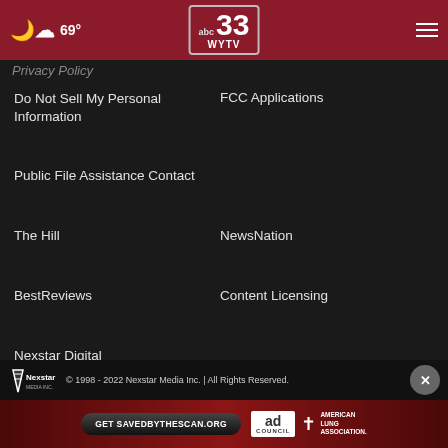abc 33 WYTV — 69°
Privacy Policy
Do Not Sell My Personal Information
FCC Applications
Public File Assistance Contact
The Hill
NewsNation
BestReviews
Content Licensing
Nexstar Digital
© 1998 - 2022 Nexstar Media Inc. | All Rights Reserved.
[Figure (infographic): American Lung Association ad: Get SAVEDBYTHESCAN.ORG with Ad Council logo]